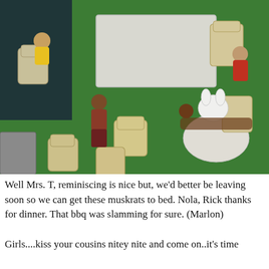[Figure (photo): Overhead view of Barbie/doll figures arranged on artificial green grass turf around miniature wooden furniture (Adirondack chairs and small tables). Several dolls are seated and posed as if at a backyard barbecue gathering.]
Well Mrs. T, reminiscing is nice but, we'd better be leaving soon so we can get these muskrats to bed. Nola, Rick thanks for dinner. That bbq was slamming for sure. (Marlon)

Girls....kiss your cousins nitey nite and come on..it's time